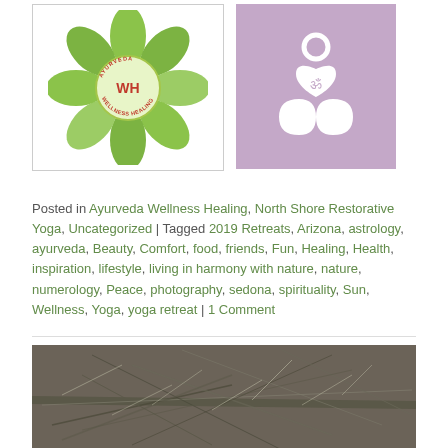[Figure (logo): Ayurveda Wellness Healing logo: green star/flower shape with WH initials in center circle, text around circle reads AYURVEDA WELLNESS HEALING]
[Figure (logo): North Shore Restorative Yoga logo: white infinity/figure symbol with om symbol and heart on purple/mauve background]
Posted in Ayurveda Wellness Healing, North Shore Restorative Yoga, Uncategorized | Tagged 2019 Retreats, Arizona, astrology, ayurveda, Beauty, Comfort, food, friends, Fun, Healing, Health, inspiration, lifestyle, living in harmony with nature, nature, numerology, Peace, photography, sedona, spirituality, Sun, Wellness, Yoga, yoga retreat | 1 Comment
[Figure (photo): Close-up photo of dry, tangled plant stems and sparse ground cover vegetation in brown/grey tones]